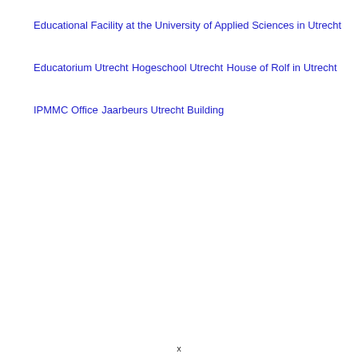Educational Facility at the University of Applied Sciences in Utrecht
Educatorium Utrecht
Hogeschool Utrecht
House of Rolf in Utrecht
IPMMC Office
Jaarbeurs Utrecht Building
x